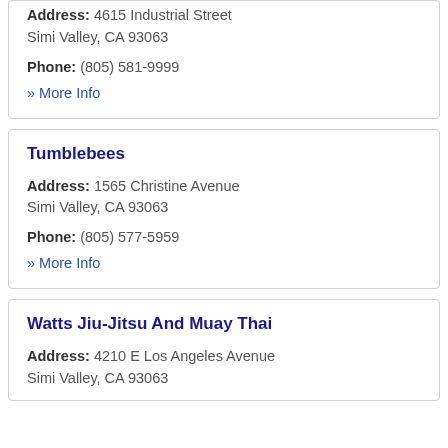Address: 4615 Industrial Street Simi Valley, CA 93063 Phone: (805) 581-9999 » More Info
Tumblebees
Address: 1565 Christine Avenue Simi Valley, CA 93063 Phone: (805) 577-5959 » More Info
Watts Jiu-Jitsu And Muay Thai
Address: 4210 E Los Angeles Avenue Simi Valley, CA 93063